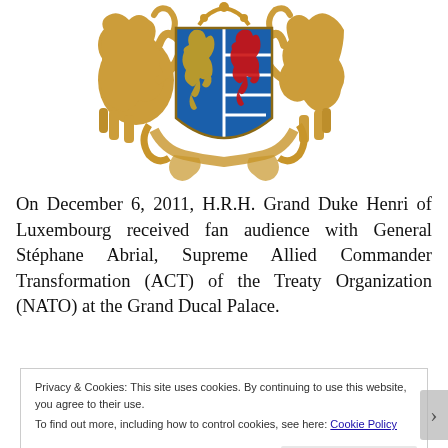[Figure (illustration): Coat of arms of Luxembourg: a blue shield with golden lions and red lion, flanked by two golden lion supporters on an ornate golden baroque cartouche]
On December 6, 2011, H.R.H. Grand Duke Henri of Luxembourg received fan audience with General Stéphane Abrial, Supreme Allied Commander Transformation (ACT) of the Treaty Organization (NATO) at the Grand Ducal Palace.
Privacy & Cookies: This site uses cookies. By continuing to use this website, you agree to their use.
To find out more, including how to control cookies, see here: Cookie Policy
Close and accept